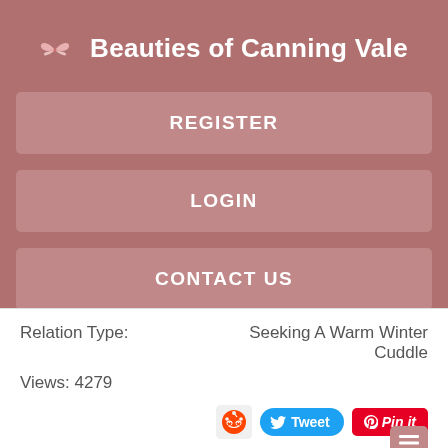Beauties of Canning Vale
REGISTER
LOGIN
CONTACT US
Relation Type: Seeking A Warm Winter Cuddle
Views: 4279
[Figure (screenshot): Social share buttons: Reddit icon, Tweet button (blue), Pin it button (red)]